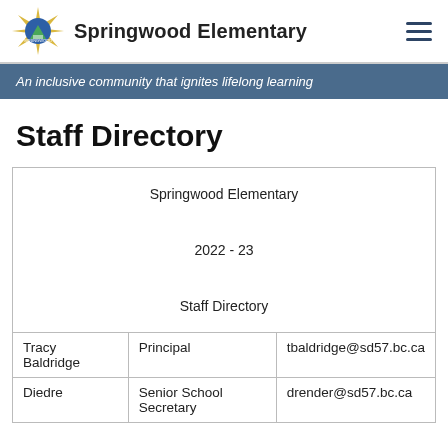Springwood Elementary
An inclusive community that ignites lifelong learning
Staff Directory
|  |  |  |
| --- | --- | --- |
| Springwood Elementary
2022 - 23
Staff Directory |  |  |
| Tracy Baldridge | Principal | tbaldridge@sd57.bc.ca |
| Diedre | Senior School Secretary | drender@sd57.bc.ca |